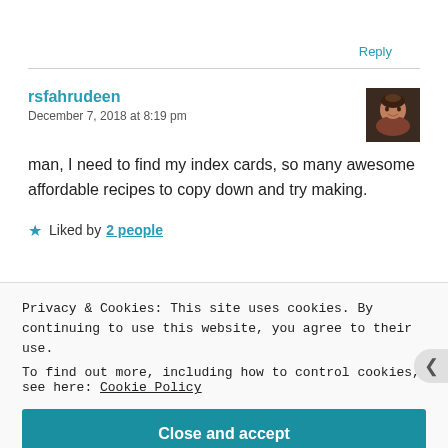Reply
rsfahrudeen
December 7, 2018 at 8:19 pm
man, I need to find my index cards, so many awesome affordable recipes to copy down and try making.
★ Liked by 2 people
Privacy & Cookies: This site uses cookies. By continuing to use this website, you agree to their use.
To find out more, including how to control cookies, see here: Cookie Policy
Close and accept